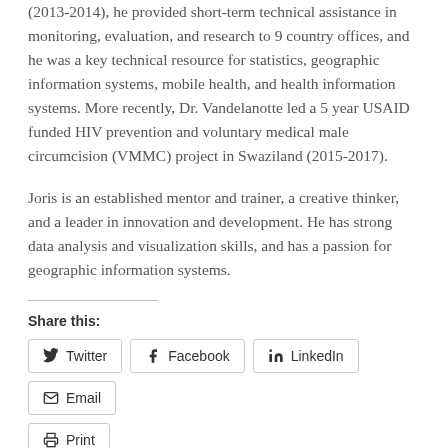(2013-2014), he provided short-term technical assistance in monitoring, evaluation, and research to 9 country offices, and he was a key technical resource for statistics, geographic information systems, mobile health, and health information systems.  More recently, Dr. Vandelanotte led a 5 year USAID funded HIV prevention and voluntary medical male circumcision (VMMC) project in Swaziland (2015-2017).
Joris is an established mentor and trainer, a creative thinker, and a leader in innovation and development. He has strong data analysis and visualization skills, and has a passion for geographic information systems.
Share this:
Twitter  Facebook  LinkedIn  Email  Print